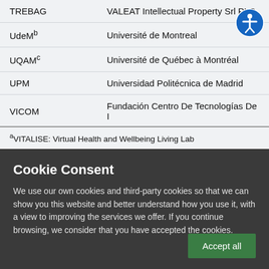| Abbreviation | Full Name |
| --- | --- |
| TREBAG | VALEAT Intellectual Property Srl PLC |
| UdeMᵇ | Université de Montreal |
| UQAMᶜ | Université de Québec à Montréal |
| UPM | Universidad Politécnica de Madrid |
| VICOM | Fundación Centro De Tecnologías De I |
| VILABS | VILABS OE |
| WITA | WITA S.r.l. |
aVITALISE: Virtual Health and Wellbeing Living Lab
Cookie Consent
We use our own cookies and third-party cookies so that we can show you this website and better understand how you use it, with a view to improving the services we offer. If you continue browsing, we consider that you have accepted the cookies.